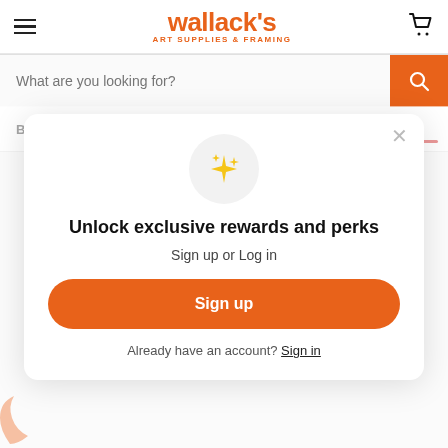wallack's ART SUPPLIES & FRAMING
What are you looking for?
Brick Beige   SKU KC-3000N-843
Unlock exclusive rewards and perks
Sign up or Log in
Sign up
Already have an account? Sign in